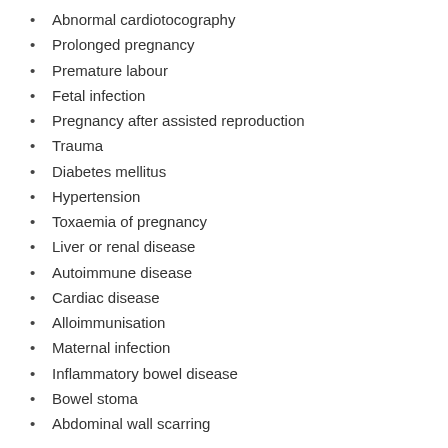Abnormal cardiotocography
Prolonged pregnancy
Premature labour
Fetal infection
Pregnancy after assisted reproduction
Trauma
Diabetes mellitus
Hypertension
Toxaemia of pregnancy
Liver or renal disease
Autoimmune disease
Cardiac disease
Alloimmunisation
Maternal infection
Inflammatory bowel disease
Bowel stoma
Abdominal wall scarring